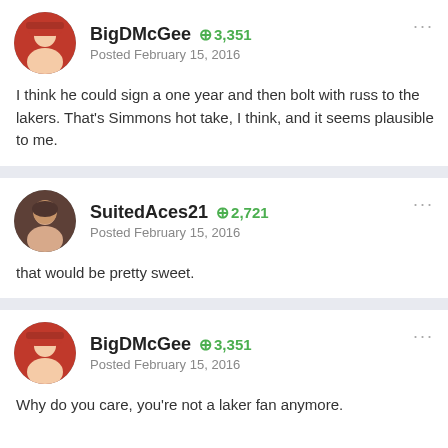BigDMcGee   +3,351
Posted February 15, 2016
I think he could sign a one year and then bolt with russ to the lakers. That's Simmons hot take, I think, and it seems plausible to me.
SuitedAces21   +2,721
Posted February 15, 2016
that would be pretty sweet.
BigDMcGee   +3,351
Posted February 15, 2016
Why do you care, you're not a laker fan anymore.